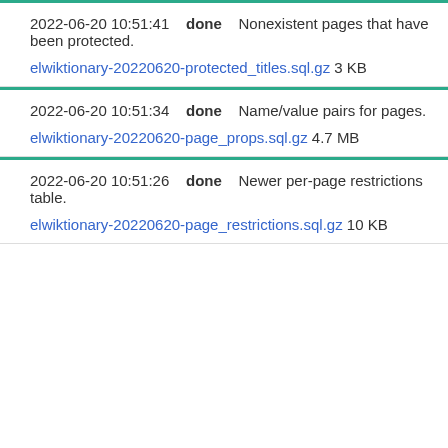2022-06-20 10:51:41   done   Nonexistent pages that have been protected.
elwiktionary-20220620-protected_titles.sql.gz 3 KB
2022-06-20 10:51:34   done   Name/value pairs for pages.
elwiktionary-20220620-page_props.sql.gz 4.7 MB
2022-06-20 10:51:26   done   Newer per-page restrictions table.
elwiktionary-20220620-page_restrictions.sql.gz 10 KB